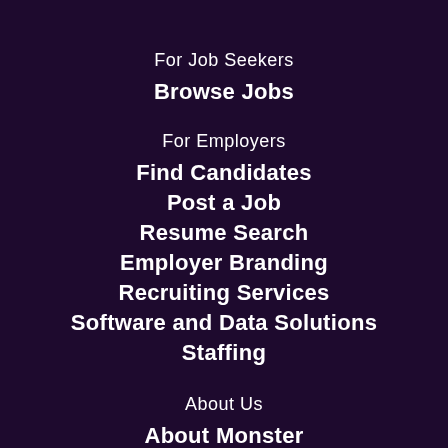For Job Seekers
Browse Jobs
For Employers
Find Candidates
Post a Job
Resume Search
Employer Branding
Recruiting Services
Software and Data Solutions
Staffing
About Us
About Monster